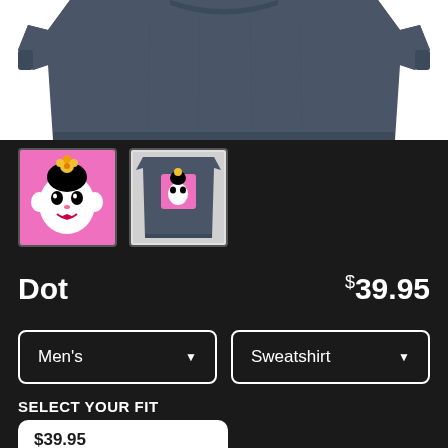[Figure (photo): Top portion of a dark grey/slate sweatshirt shown against white background, cropped showing the upper chest and sleeves area]
[Figure (photo): Thumbnail: pink background with Dot cartoon character face (black and white with gold flower crown)]
[Figure (photo): Thumbnail: grey sweatshirt with pink square graphic showing the Dot cartoon character]
Dot
$39.95
Men's
Sweatshirt
SELECT YOUR FIT
$39.95
French Terry